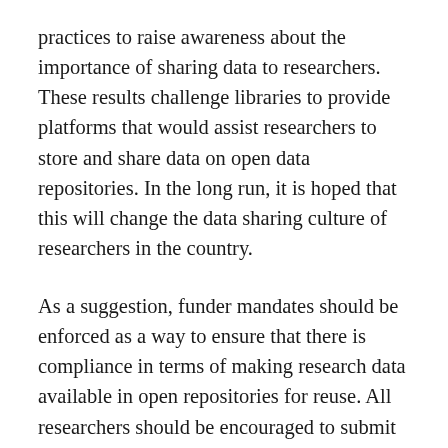practices to raise awareness about the importance of sharing data to researchers. These results challenge libraries to provide platforms that would assist researchers to store and share data on open data repositories. In the long run, it is hoped that this will change the data sharing culture of researchers in the country.
As a suggestion, funder mandates should be enforced as a way to ensure that there is compliance in terms of making research data available in open repositories for reuse. All researchers should be encouraged to submit their data management and data sharing plans at the proposal stage of applying for funds. In addition, incentives should be made available to researchers not